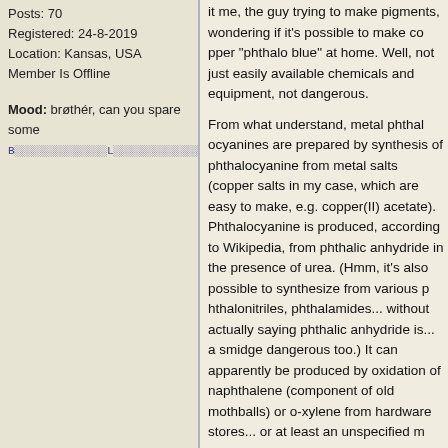Posts: 70
Registered: 24-8-2019
Location: Kansas, USA
Member Is Offline
Mood: brøthér, can you spare some BLUE
it me, the guy trying to make pigments, wondering if it's possible to make copper "phthalo blue" at home. Well, not just easily available chemicals and equipment, not dangerous.

From what understand, metal phthalocyanines are prepared by synthesis of phthalocyanine from metal salts (copper salts in my case, which are easy to make, e.g. copper(II) acetate). Phthalocyanine is produced, according to Wikipedia, from phthalic anhydride in the presence of urea. (Hmm, it's also possible to synthesize from various phthalonitriles, phthalamides... without actually saying phthalic anhydride is... a smidge dangerous too.) It can apparently be produced by oxidation of naphthalene (component of old mothballs) or o-xylene from hardware stores... or at least an unspecified mixture of isomers).

That then leaves me with trying to figure out what oxidizer would be; simple 3% aqueous H2O2? Too weak so far but something tells me that would not be enough to oxidize an arene.

So in short, the preparation would seem to be:

naphthalene (mothballs) OR xylene + oxidizer --> phthalic anhydride

phthalic anhydride + urea (fertilizer) --> copper phthalocyanine